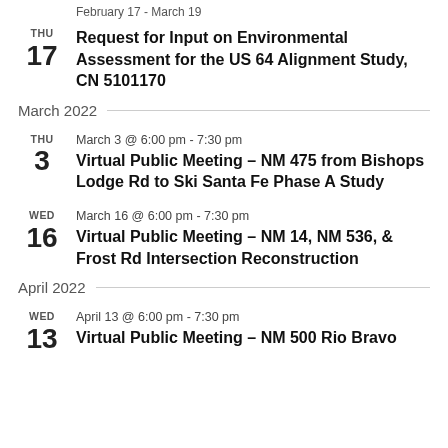February 17 - March 19
THU 17 — Request for Input on Environmental Assessment for the US 64 Alignment Study, CN 5101170
March 2022
THU 3 — March 3 @ 6:00 pm - 7:30 pm — Virtual Public Meeting – NM 475 from Bishops Lodge Rd to Ski Santa Fe Phase A Study
WED 16 — March 16 @ 6:00 pm - 7:30 pm — Virtual Public Meeting – NM 14, NM 536, & Frost Rd Intersection Reconstruction
April 2022
WED 13 — April 13 @ 6:00 pm - 7:30 pm — Virtual Public Meeting – NM 500 Rio Bravo